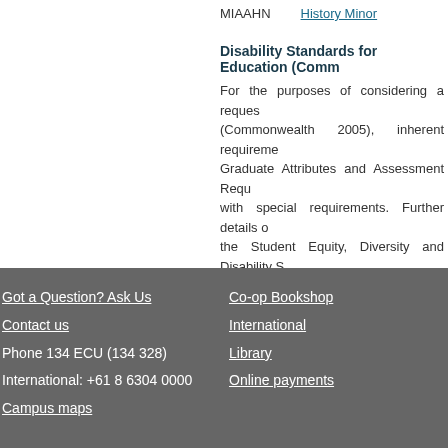MIAAHN        History Minor
Disability Standards for Education (Comm...
For the purposes of considering a request (Commonwealth 2005), inherent requirements Graduate Attributes and Assessment Requirements with special requirements. Further details on the Student Equity, Diversity and Disability S http://intranet.ecu.edu.au/student/support/st...
Last Updated - Higher Education: 15/03/2014 VET: 14/...
Got a Question? Ask Us | Contact us | Phone 134 ECU (134 328) | International: +61 8 6304 0000 | Campus maps | Co-op Bookshop | International | Library | Online payments